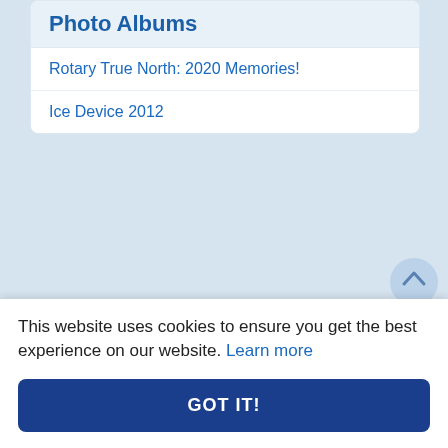Photo Albums
Rotary True North: 2020 Memories!
Ice Device 2012
Resources
Committee Pages
About Our Club
This website uses cookies to ensure you get the best experience on our website. Learn more
GOT IT!